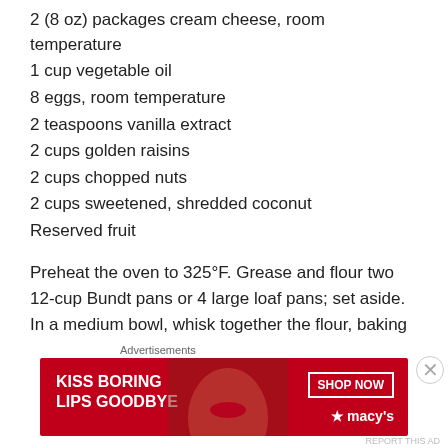2 (8 oz) packages cream cheese, room temperature
1 cup vegetable oil
8 eggs, room temperature
2 teaspoons vanilla extract
2 cups golden raisins
2 cups chopped nuts
2 cups sweetened, shredded coconut
Reserved fruit
Preheat the oven to 325°F. Grease and flour two 12-cup Bundt pans or 4 large loaf pans; set aside.  In a medium bowl, whisk together the flour, baking powder, and salt; set aside.  In a separate large bowl, cream together the butter,
[Figure (other): Advertisement banner for Macy's: red background with text 'KISS BORING LIPS GOODBYE' on the left, a SHOP NOW button on the right, and the Macy's star logo. Shows a model's face with lipstick.]